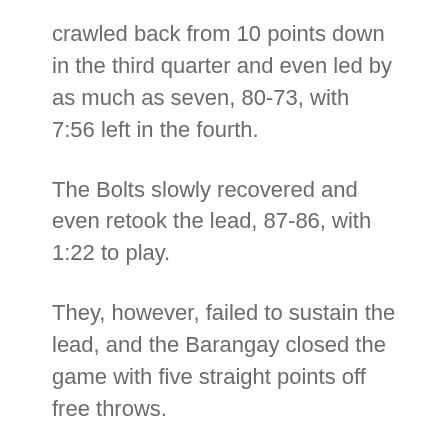crawled back from 10 points down in the third quarter and even led by as much as seven, 80-73, with 7:56 left in the fourth.
The Bolts slowly recovered and even retook the lead, 87-86, with 1:22 to play.
They, however, failed to sustain the lead, and the Barangay closed the game with five straight points off free throws.
But none was more important than Japeth Aguilar's block on Allen Durham that helped seal the win for Ginebra.